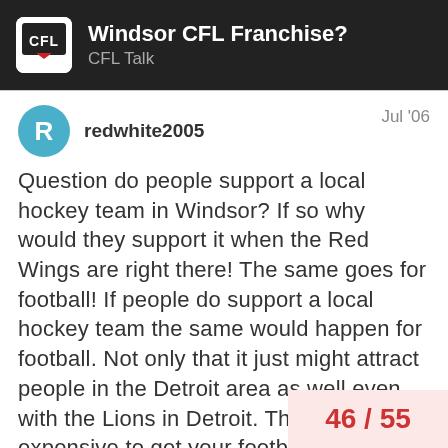Windsor CFL Franchise? | CFL Talk
redwhite2005   Jul '06
Question do people support a local hockey team in Windsor? If so why would they support it when the Red Wings are right there! The same goes for football! If people do support a local hockey team the same would happen for football. Not only that it just might attract people in the Detroit area as well even with the Lions in Detroit. The NFL is very expensive to get your football fix and the CFL is priced where many can go to the games. But you being in Sarnia would no I guess.

the other question if there is no inte... your area or Windsor why are you h...
46 / 55